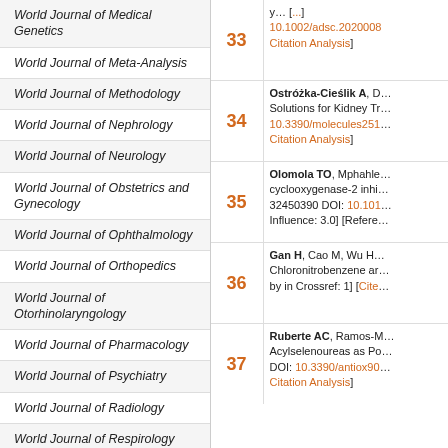World Journal of Medical Genetics
World Journal of Meta-Analysis
World Journal of Methodology
World Journal of Nephrology
World Journal of Neurology
World Journal of Obstetrics and Gynecology
World Journal of Ophthalmology
World Journal of Orthopedics
World Journal of Otorhinolaryngology
World Journal of Pharmacology
World Journal of Psychiatry
World Journal of Radiology
World Journal of Respirology
World Journal of Rheumatology
World Journal of Stem Cells
World Journal of Stomatology
World Journal of Surgical Procedures
World Journal of Translational Medicine
33 - reference entry with DOI 10.1002/adsc.2020008... Citation Analysis
34 - Ostrózka-Ciéslik A, D... Solutions for Kidney Tr... 10.3390/molecules251... Citation Analysis
35 - Olomola TO, Mphahle... cyclooxygenase-2 inhi... 32450390 DOI: 10.101... Influence: 3.0] [Refere...
36 - Gan H, Cao M, Wu H... Chloronitrobenzene ar... by in Crossref: 1] [Cite...
37 - Ruberte AC, Ramos-M... Acylselenoureas as Po... DOI: 10.3390/antiox90... Citation Analysis]